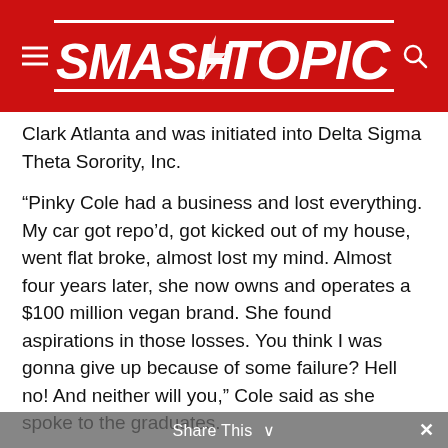SMASHTOPIC
Clark Atlanta and was initiated into Delta Sigma Theta Sorority, Inc.
“Pinky Cole had a business and lost everything. My car got repo’d, got kicked out of my house, went flat broke, almost lost my mind. Almost four years later, she now owns and operates a $100 million vegan brand. She found aspirations in those losses. You think I was gonna give up because of some failure? Hell no! And neither will you,” Cole said as she spoke to the graduates.
“…the class of 2022. I want you to fail…fail so hard you become an expert in failure and you get a PhD in failology. I want you to fail because failing is not failing at all. It is finding aspiration in the losses.”